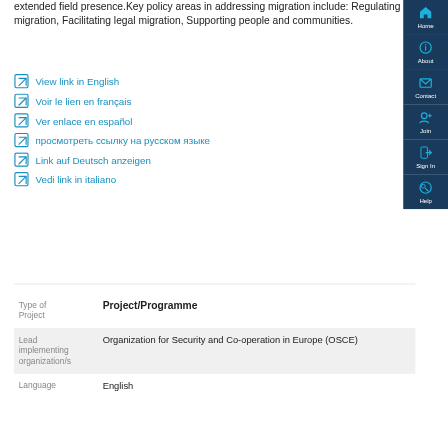extended field presence.Key policy areas in addressing migration include: Regulating migration, Facilitating legal migration, Supporting people and communities.
View link in English
Voir le lien en français
Ver enlace en español
просмотреть ссылку на русском языке
Link auf Deutsch anzeigen
Vedi link in italiano
| Field | Value |
| --- | --- |
| Type of Project | Project/Programme |
| Lead implementing organization/s | Organization for Security and Co-operation in Europe (OSCE) |
| Language | English |